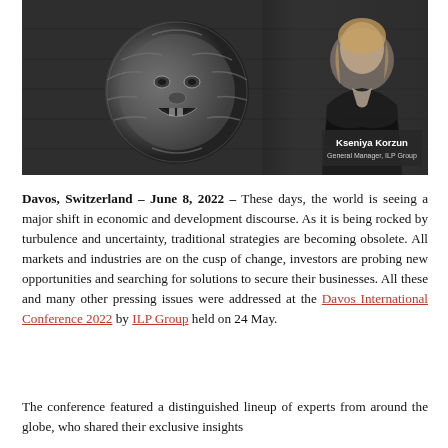[Figure (photo): Black and white photo showing a stone lion head door knocker on the left and a woman (Kseniya Korzun, General Manager, ILP Group) in a dark blazer on the right, with a name tag overlay in the lower right corner.]
Davos, Switzerland – June 8, 2022 – These days, the world is seeing a major shift in economic and development discourse. As it is being rocked by turbulence and uncertainty, traditional strategies are becoming obsolete. All markets and industries are on the cusp of change, investors are probing new opportunities and searching for solutions to secure their businesses. All these and many other pressing issues were addressed at the Davos International Conference 2022 by ILP Group held on 24 May.
The conference featured a distinguished lineup of experts from around the globe, who shared their exclusive insights